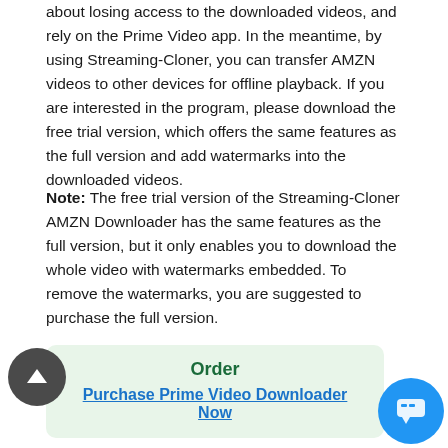about losing access to the downloaded videos, and rely on the Prime Video app. In the meantime, by using Streaming-Cloner, you can transfer AMZN videos to other devices for offline playback. If you are interested in the program, please download the free trial version, which offers the same features as the full version and add watermarks into the downloaded videos.
Note: The free trial version of the Streaming-Cloner AMZN Downloader has the same features as the full version, but it only enables you to download the whole video with watermarks embedded. To remove the watermarks, you are suggested to purchase the full version.
[Figure (other): A light green rounded box with the title 'Order' in bold dark green and a clickable link 'Purchase Prime Video Downloader Now' in blue underlined text.]